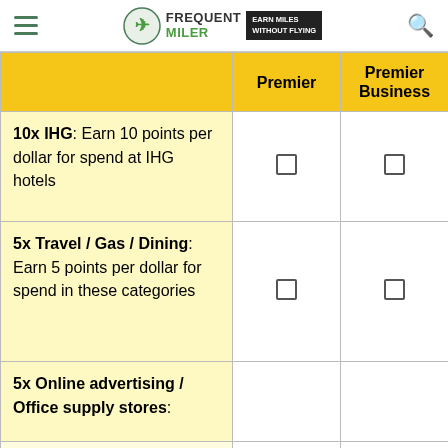Frequent Miler — Earn Miles Without Flying
|  | Premier | Premier Business |
| --- | --- | --- |
| 10x IHG: Earn 10 points per dollar for spend at IHG hotels | ✓ | ✓ |
| 5x Travel / Gas / Dining: Earn 5 points per dollar for spend in these categories | ✓ | ✓ |
| 5x Online advertising / Office supply stores: Earn 5 points per dollar for spend in these… | ✓ | ✗ |